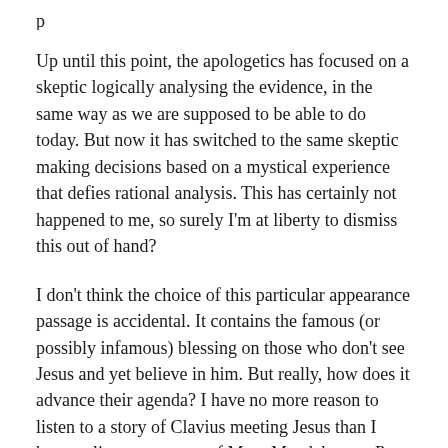Up until this point, the apologetics has focused on a skeptic logically analysing the evidence, in the same way as we are supposed to be able to do today. But now it has switched to the same skeptic making decisions based on a mystical experience that defies rational analysis. This has certainly not happened to me, so surely I'm at liberty to dismiss this out of hand?
I don't think the choice of this particular appearance passage is accidental. It contains the famous (or possibly infamous) blessing on those who don't see Jesus and yet believe in him. But really, how does it advance their agenda? I have no more reason to listen to a story of Clavius meeting Jesus than I have to listen to a story of Mary Magdalene or Peter meeting Jesus.